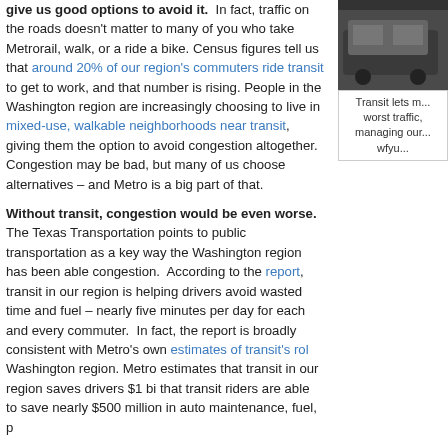give us good options to avoid it. In fact, traffic on the roads doesn't matter to many of you who take Metrorail, walk, or a ride a bike. Census figures tell us that around 20% of our region's commuters ride transit to get to work, and that number is rising. People in the Washington region are increasingly choosing to live in mixed-use, walkable neighborhoods near transit, giving them the option to avoid congestion altogether. Congestion may be bad, but many of us choose alternatives – and Metro is a big part of that.
[Figure (photo): Photo of a transit vehicle (bus or train) exterior, dark colored, partially visible]
Transit lets m... worst traffic, managing our... wfyu...
Without transit, congestion would be even worse. The Texas Transportation points to public transportation as a key way the Washington region has been able congestion. According to the report, transit in our region is helping drivers avoid wasted time and fuel – nearly five minutes per day for each and every commuter. In fact, the report is broadly consistent with Metro's own estimates of transit's rol Washington region. Metro estimates that transit in our region saves drivers $1 bi that transit riders are able to save nearly $500 million in auto maintenance, fuel, p
Congestion matters to Metro, too – because our buses are stuck in the same t lanes in key locations, such as H and I Streets NW downtown where buses are 2 of the people, would help make Metrobus a great way to bypass traffic. Metro ha the region where improvements to help get buses out of traffic could attract 100,0
More transit in the future is a good way to help congestion. We may never g we can build our infrastructure in ways that give us good alternatives to being stu transit may not come cheap, but this report is a good reminder of some of the co transportation. The transit project needs identified by Momentum – eight-car tra